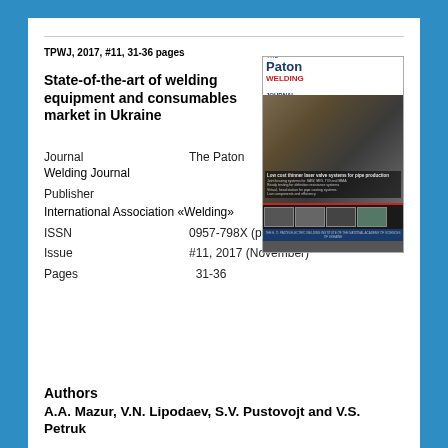TPWJ, 2017, #11, 31-36 pages
[Figure (illustration): Cover image of The Paton Welding Journal showing journal masthead with blue and red title text and a photo of welding equipment on pipes]
State-of-the-art of welding equipment and consumables market in Ukraine
| Journal | The Paton Welding Journal |
| Publisher | International Association «Welding» |
| ISSN | 0957-798X (print) |
| Issue | #11, 2017 (November) |
| Pages | 31-36 |
Authors
A.A. Mazur, V.N. Lipodaev, S.V. Pustovojt and V.S. Petruk